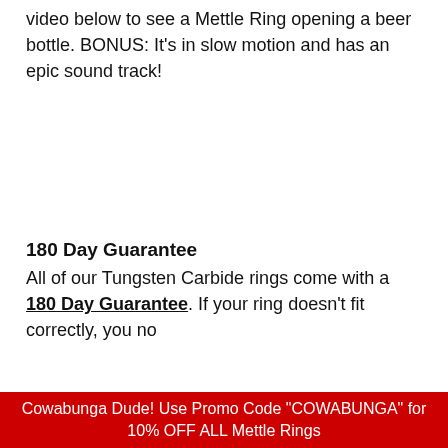video below to see a Mettle Ring opening a beer bottle. BONUS: It's in slow motion and has an epic sound track!
180 Day Guarantee
All of our Tungsten Carbide rings come with a 180 Day Guarantee. If your ring doesn't fit correctly, you no
Cowabunga Dude! Use Promo Code "COWABUNGA" for 10% OFF ALL Mettle Rings